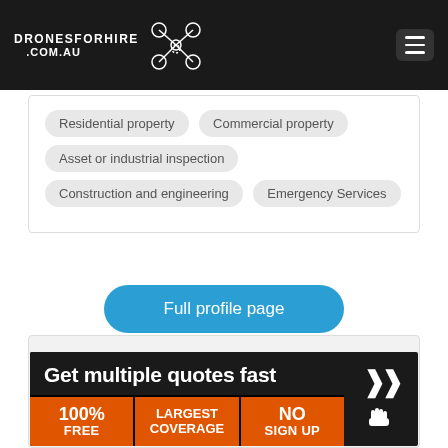DRONESFORHIRE .COM.AU
Residential property
Commercial property
Asset or industrial inspection
Construction and engineering
Emergency Services
Full profile page
[Figure (infographic): Get multiple quotes fast banner with 100% FREE, LARGEST COVERAGE, NO SIGN UP sections and arrow button]